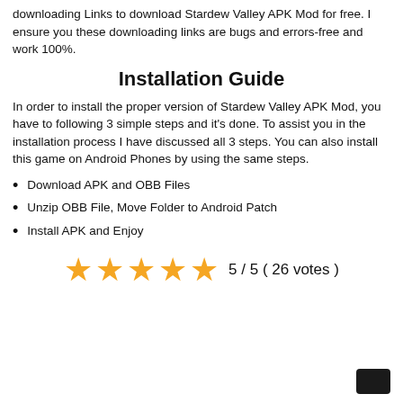downloading Links to download Stardew Valley APK Mod for free. I ensure you these downloading links are bugs and errors-free and work 100%.
Installation Guide
In order to install the proper version of Stardew Valley APK Mod, you have to following 3 simple steps and it's done. To assist you in the installation process I have discussed all 3 steps. You can also install this game on Android Phones by using the same steps.
Download APK and OBB Files
Unzip OBB File, Move Folder to Android Patch
Install APK and Enjoy
[Figure (other): 5-star rating display showing 5 orange stars with text '5 / 5 ( 26 votes )']